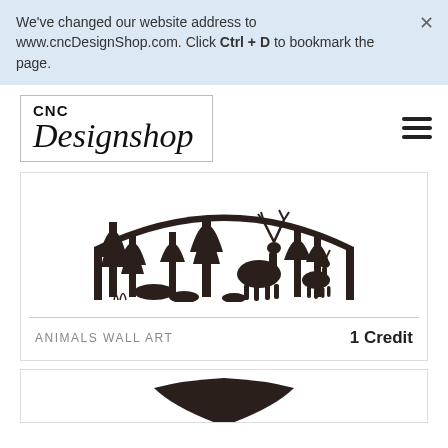We've changed our website address to www.cncDesignShop.com. Click Ctrl + D to bookmark the page.
[Figure (logo): CNC Designshop logo with bold sans-serif CNC text above italic serif Designshop text, enclosed in a rectangular border]
[Figure (illustration): Black silhouette CNC cut design of deer and trees in a forest scene, arch-shaped panoramic panel]
ANIMALS WALL ART
1 Credit
[Figure (illustration): Partial view of another CNC design product card, cropped at the bottom of the page]